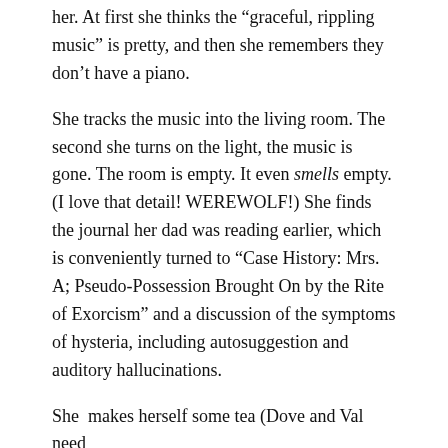her. At first she thinks the “graceful, rippling music” is pretty, and then she remembers they don’t have a piano.
She tracks the music into the living room. The second she turns on the light, the music is gone. The room is empty. It even smells empty. (I love that detail! WEREWOLF!) She finds the journal her dad was reading earlier, which is conveniently turned to “Case History: Mrs. A; Pseudo-Possession Brought On by the Rite of Exorcism” and a discussion of the symptoms of hysteria, including autosuggestion and auditory hallucinations.
She  makes herself some tea (Dove and Val need